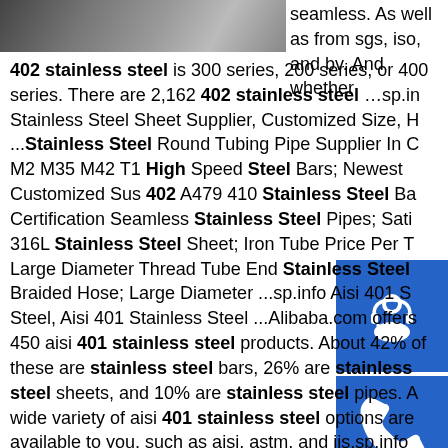[Figure (photo): Partial view of a metal/steel product image at top left]
seamless. As well as from sgs, iso, and bv. And whether 402 stainless steel is 300 series, 200 series, or 400 series. There are 2,162 402 stainless steel …sp.info Stainless Steel Sheet Supplier, Customized Size, H...Stainless Steel Round Tubing Pipe Supplier In C... M2 M35 M42 T1 High Speed Steel Bars; Newest Customized Sus 402 A479 410 Stainless Steel Ba... Certification Seamless Stainless Steel Pipes; Sati... 316L Stainless Steel Sheet; Iron Tube Price Per T... Large Diameter Thread Tube End Stainless Steel... Braided Hose; Large Diameter ...sp.info Aisi 401 S... Steel, Aisi 401 Stainless Steel ...Alibaba.com offers 450 aisi 401 stainless steel products. About 42% of these are stainless steel bars, 26% are stainless steel sheets, and 10% are stainless steel pipes. A wide variety of aisi 401 stainless steel options are available to you, such as aisi, astm, and jis.sp.info schedule 80 304 316 stainless steel pipe, Sino EastQuality guaranteed, after-sales services,